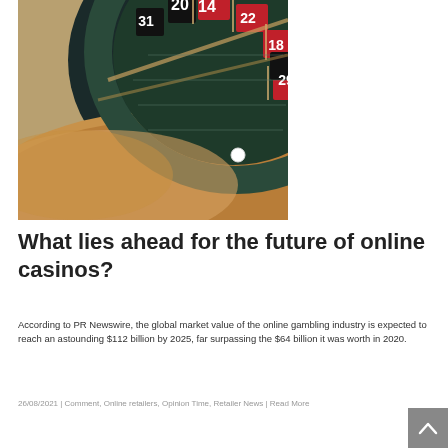[Figure (photo): Close-up photograph of a roulette wheel showing numbered slots including 20, 14, 31, 22, 18, 29 with a white ball resting in one slot; wooden wheel rim visible in foreground]
What lies ahead for the future of online casinos?
According to PR Newswire, the global market value of the online gambling industry is expected to reach an astounding $112 billion by 2025, far surpassing the $64 billion it was worth in 2020.
26/08/2021 | Comment, Online retailers, Opinion Time, Retailer News | Read More